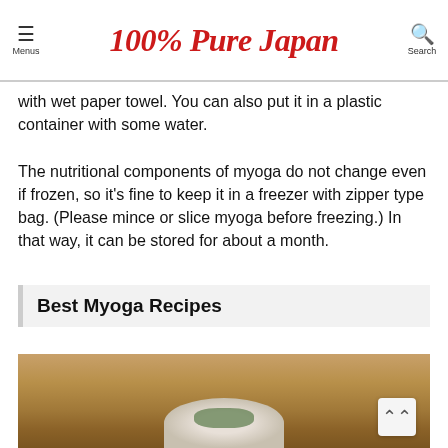100% Pure Japan
with wet paper towel. You can also put it in a plastic container with some water. The nutritional components of myoga do not change even if frozen, so it's fine to keep it in a freezer with zipper type bag. (Please mince or slice myoga before freezing.) In that way, it can be stored for about a month.
Best Myoga Recipes
[Figure (photo): Photo of a Japanese dish with myoga garnish on a wooden surface]